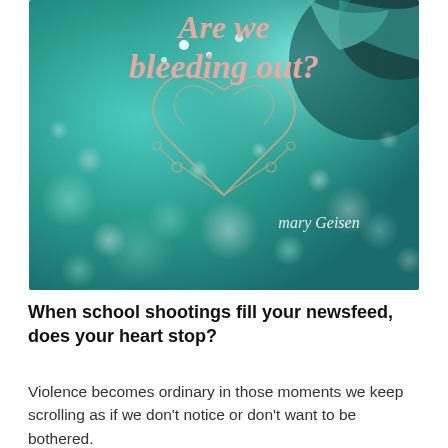[Figure (illustration): A teal/aqua bokeh background with a decorative hand-drawn heart outline in gold/rose. Pink cursive text reads 'Are we bleeding out?' and a handwritten signature 'mary Geisen' appears in the bottom right.]
When school shootings fill your newsfeed, does your heart stop?
Violence becomes ordinary in those moments we keep scrolling as if we don't notice or don't want to be bothered.